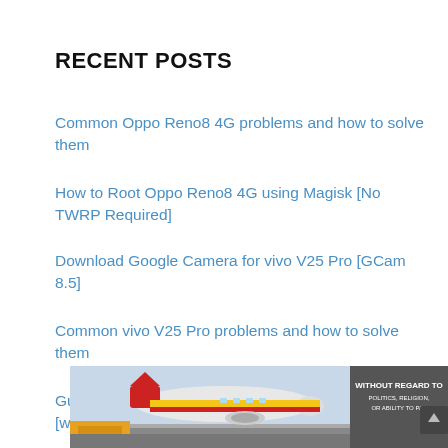RECENT POSTS
Common Oppo Reno8 4G problems and how to solve them
How to Root Oppo Reno8 4G using Magisk [No TWRP Required]
Download Google Camera for vivo V25 Pro [GCam 8.5]
Common vivo V25 Pro problems and how to solve them
Guide to Root vivo V25 Pro with Magisk [without TWRP]
[Figure (photo): Cargo airplane on a runway with Southwest Airlines branding visible. An advertisement overlay reads 'WITHOUT REGARD TO POLITICS, RELIGION, OR ABILITY TO PAY'.]